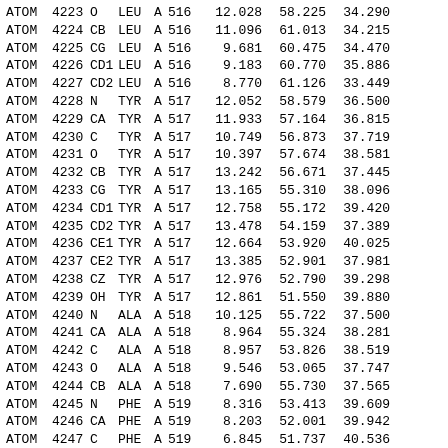| type | serial | name | res | chain | seq | x | y | z |
| --- | --- | --- | --- | --- | --- | --- | --- | --- |
| ATOM | 4223 | O | LEU | A | 516 | 12.028 | 58.225 | 34.290 |
| ATOM | 4224 | CB | LEU | A | 516 | 11.096 | 61.013 | 34.215 |
| ATOM | 4225 | CG | LEU | A | 516 | 9.681 | 60.475 | 34.470 |
| ATOM | 4226 | CD1 | LEU | A | 516 | 9.183 | 60.770 | 35.886 |
| ATOM | 4227 | CD2 | LEU | A | 516 | 8.770 | 61.126 | 33.449 |
| ATOM | 4228 | N | TYR | A | 517 | 12.052 | 58.579 | 36.500 |
| ATOM | 4229 | CA | TYR | A | 517 | 11.933 | 57.164 | 36.815 |
| ATOM | 4230 | C | TYR | A | 517 | 10.749 | 56.873 | 37.719 |
| ATOM | 4231 | O | TYR | A | 517 | 10.397 | 57.674 | 38.581 |
| ATOM | 4232 | CB | TYR | A | 517 | 13.242 | 56.671 | 37.445 |
| ATOM | 4233 | CG | TYR | A | 517 | 13.165 | 55.310 | 38.096 |
| ATOM | 4234 | CD1 | TYR | A | 517 | 12.758 | 55.172 | 39.420 |
| ATOM | 4235 | CD2 | TYR | A | 517 | 13.478 | 54.159 | 37.389 |
| ATOM | 4236 | CE1 | TYR | A | 517 | 12.664 | 53.920 | 40.025 |
| ATOM | 4237 | CE2 | TYR | A | 517 | 13.385 | 52.901 | 37.981 |
| ATOM | 4238 | CZ | TYR | A | 517 | 12.976 | 52.790 | 39.298 |
| ATOM | 4239 | OH | TYR | A | 517 | 12.861 | 51.550 | 39.880 |
| ATOM | 4240 | N | ALA | A | 518 | 10.125 | 55.722 | 37.500 |
| ATOM | 4241 | CA | ALA | A | 518 | 8.964 | 55.324 | 38.281 |
| ATOM | 4242 | C | ALA | A | 518 | 8.957 | 53.826 | 38.519 |
| ATOM | 4243 | O | ALA | A | 518 | 9.546 | 53.065 | 37.747 |
| ATOM | 4244 | CB | ALA | A | 518 | 7.690 | 55.730 | 37.565 |
| ATOM | 4245 | N | PHE | A | 519 | 8.316 | 53.413 | 39.609 |
| ATOM | 4246 | CA | PHE | A | 519 | 8.203 | 52.001 | 39.942 |
| ATOM | 4247 | C | PHE | A | 519 | 6.845 | 51.737 | 40.536 |
| ATOM | 4248 | O | PHE | A | 519 | 6.067 | 52.658 | 40.743 |
| ATOM | 4249 | CB | PHE | A | 519 | 9.281 | 51.567 | 40.932 |
| ATOM | 4250 | CG | PHE | A | 519 | 9.324 | 52.382 | 42.198 |
| ATOM | 4251 | CD1 | PHE | A | 519 | 9.873 | 53.661 | 42.202 |
| ATOM | 4252 | CD2 | PHE | A | 519 | 8.859 | 51.852 | 43.394 |